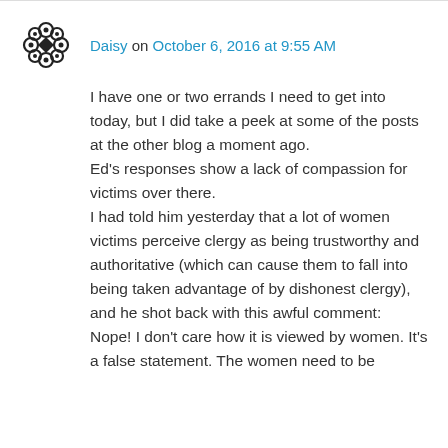Comment by Daisy on October 6, 2016 at 9:55 AM
I have one or two errands I need to get into today, but I did take a peek at some of the posts at the other blog a moment ago.
Ed's responses show a lack of compassion for victims over there.
I had told him yesterday that a lot of women victims perceive clergy as being trustworthy and authoritative (which can cause them to fall into being taken advantage of by dishonest clergy), and he shot back with this awful comment:
Nope! I don't care how it is viewed by women. It's a false statement. The women need to be